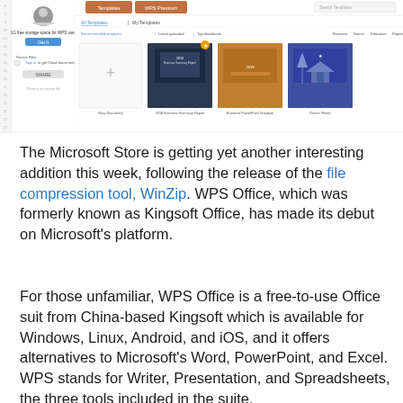[Figure (screenshot): Screenshot of WPS Office application showing the Templates and WPS Premium tabs, a left sidebar with user storage info and recent files, and a template gallery with New Document, 2018 Business Summary Report, Business PowerPoint Template, and Dream Winter templates.]
The Microsoft Store is getting yet another interesting addition this week, following the release of the file compression tool, WinZip. WPS Office, which was formerly known as Kingsoft Office, has made its debut on Microsoft's platform.
For those unfamiliar, WPS Office is a free-to-use Office suit from China-based Kingsoft which is available for Windows, Linux, Android, and iOS, and it offers alternatives to Microsoft's Word, PowerPoint, and Excel. WPS stands for Writer, Presentation, and Spreadsheets, the three tools included in the suite.